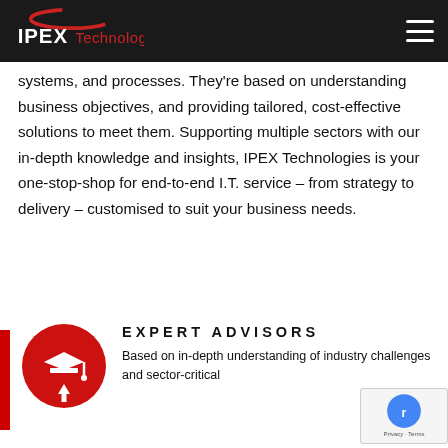IPEX Technologies
systems, and processes. They're based on understanding business objectives, and providing tailored, cost-effective solutions to meet them. Supporting multiple sectors with our in-depth knowledge and insights, IPEX Technologies is your one-stop-shop for end-to-end I.T. service – from strategy to delivery – customised to suit your business needs.
[Figure (logo): Red circular icon with graduation cap icon inside, on red background circle]
EXPERT ADVISORS
Based on in-depth understanding of industry challenges and sector-critical